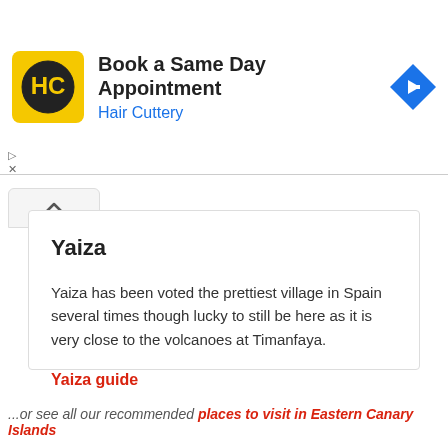[Figure (infographic): Hair Cuttery advertisement banner with yellow HC logo, text 'Book a Same Day Appointment / Hair Cuttery', and a blue diamond-shaped navigation arrow icon]
Yaiza
Yaiza has been voted the prettiest village in Spain several times though lucky to still be here as it is very close to the volcanoes at Timanfaya.
Yaiza guide
...or see all our recommended places to visit in Eastern Canary Islands